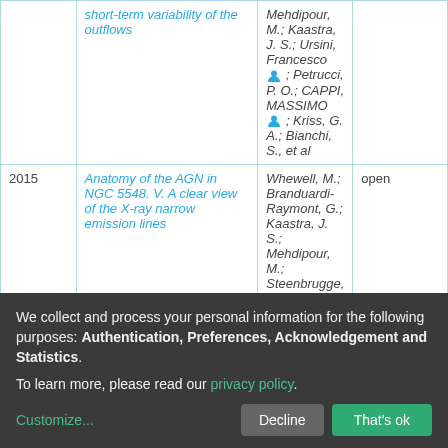| Year | Title | Authors | Access |
| --- | --- | --- | --- |
|  | short-term variability of the outflows | Mehdipour, M.; Kaastra, J. S.; Ursini, Francesco [person]; Petrucci, P. O.; CAPPI, MASSIMO [person]; Kriss, G. A.; Bianchi, S., et al |  |
| 2015 | Anatomy of the AGN in NGC 5548. V. A clear view of the X-ray narrow emission lines | Whewell, M.; Branduardi-Raymont, G.; Kaastra, J. S.; Mehdipour, M.; Steenbrugge, K. | open |
We collect and process your personal information for the following purposes: Authentication, Preferences, Acknowledgement and Statistics. To learn more, please read our privacy policy.